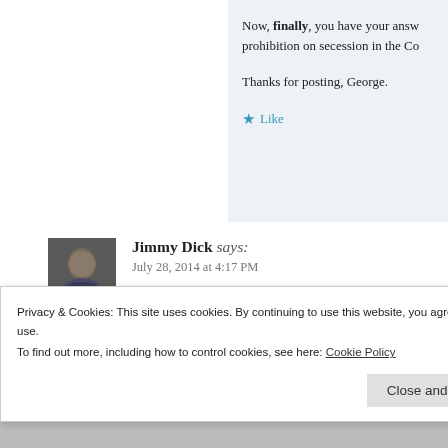Now, finally, you have your answer. There is no prohibition on secession in the Co[nstitution].

Thanks for posting, George.
★ Like
Jimmy Dick says:
July 28, 2014 at 4:17 PM
You lose with this one as usual. New York did [not secede] at all. You are mangling this document in your at[tempt to find something] that just does not exist. We've been over this b[efore]
Privacy & Cookies: This site uses cookies. By continuing to use this website, you agree to their use.
To find out more, including how to control cookies, see here: Cookie Policy
Close and accept